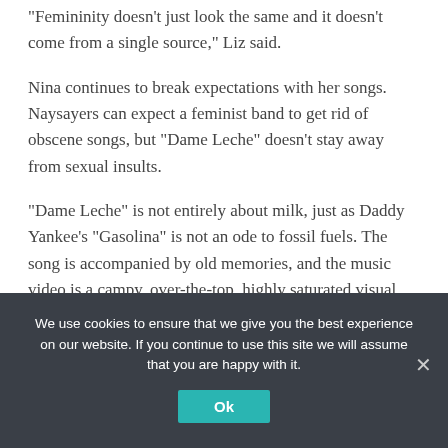“Femininity doesn’t just look the same and it doesn’t come from a single source,” Liz said.
Nina continues to break expectations with her songs. Naysayers can expect a feminist band to get rid of obscene songs, but “Dame Leche” doesn’t stay away from sexual insults.
“Dame Leche” is not entirely about milk, just as Daddy Yankee’s “Gasolina” is not an ode to fossil fuels. The song is accompanied by old memories, and the music video is a campy, over-the-top, highly saturated visual feast. In the video, edited by Bo, Liz Ferrari and
We use cookies to ensure that we give you the best experience on our website. If you continue to use this site we will assume that you are happy with it.